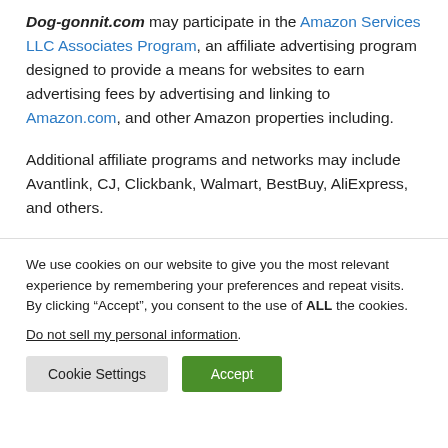Dog-gonnit.com may participate in the Amazon Services LLC Associates Program, an affiliate advertising program designed to provide a means for websites to earn advertising fees by advertising and linking to Amazon.com, and other Amazon properties including.
Additional affiliate programs and networks may include Avantlink, CJ, Clickbank, Walmart, BestBuy, AliExpress, and others.
We use cookies on our website to give you the most relevant experience by remembering your preferences and repeat visits. By clicking “Accept”, you consent to the use of ALL the cookies.
Do not sell my personal information.